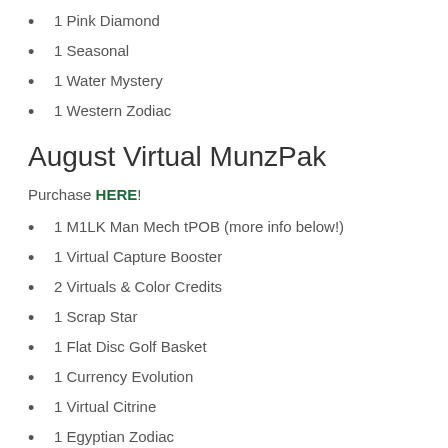1 Pink Diamond
1 Seasonal
1 Water Mystery
1 Western Zodiac
August Virtual MunzPak
Purchase HERE!
1 M1LK Man Mech tPOB (more info below!)
1 Virtual Capture Booster
2 Virtuals & Color Credits
1 Scrap Star
1 Flat Disc Golf Basket
1 Currency Evolution
1 Virtual Citrine
1 Egyptian Zodiac
3 August 2022 Exclusive MunzPak Greeting Cards